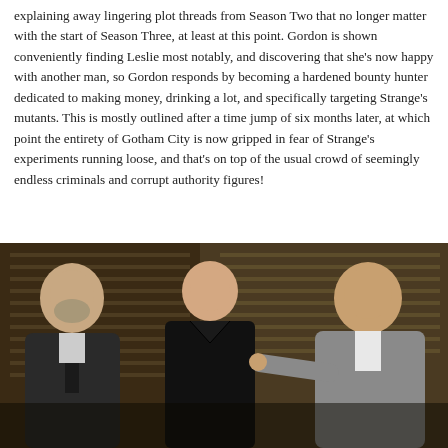explaining away lingering plot threads from Season Two that no longer matter with the start of Season Three, at least at this point. Gordon is shown conveniently finding Leslie most notably, and discovering that she's now happy with another man, so Gordon responds by becoming a hardened bounty hunter dedicated to making money, drinking a lot, and specifically targeting Strange's mutants. This is mostly outlined after a time jump of six months later, at which point the entirety of Gotham City is now gripped in fear of Strange's experiments running loose, and that's on top of the usual crowd of seemingly endless criminals and corrupt authority figures!
[Figure (photo): Three men standing in a room with venetian blinds in the background. Left: older man with grey beard in dark suit and tie. Center: younger bald man in black leather jacket. Right: bald heavyset man in light grey suit pointing finger.]